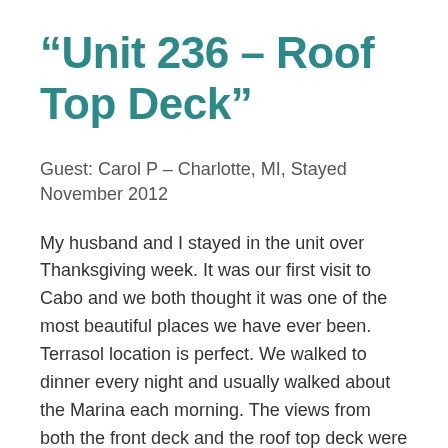“Unit 236 – Roof Top Deck”
Guest: Carol P – Charlotte, MI, Stayed November 2012
My husband and I stayed in the unit over Thanksgiving week. It was our first visit to Cabo and we both thought it was one of the most beautiful places we have ever been. Terrasol location is perfect. We walked to dinner every night and usually walked about the Marina each morning. The views from both the front deck and the roof top deck were wonderful. We never turned on the air conditioner because with just